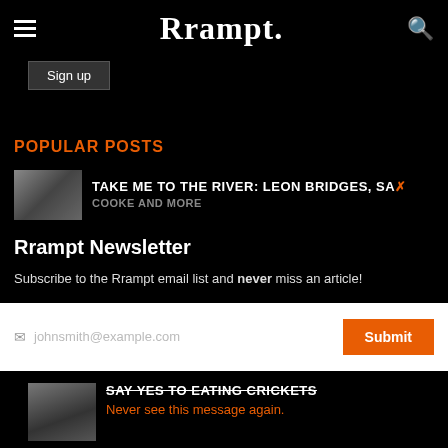Rrampt.
Sign up
POPULAR POSTS
TAKE ME TO THE RIVER: LEON BRIDGES, SAM COOKE AND MORE
Rrampt Newsletter
Subscribe to the Rrampt email list and never miss an article!
johnsmith@example.com
Submit
SAY YES TO EATING CRICKETS
Never see this message again.